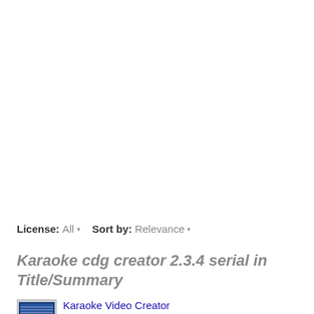License: All ▾    Sort by: Relevance ▾
Karaoke cdg creator 2.3.4 serial in Title/Summary
Karaoke Video Creator